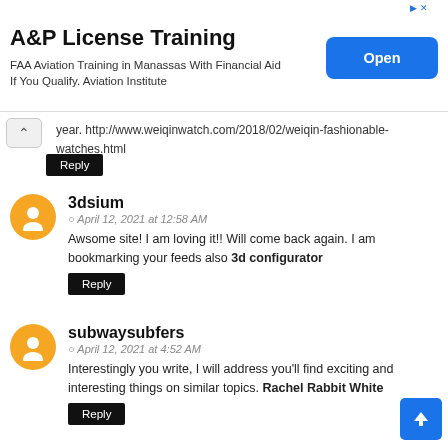[Figure (screenshot): Advertisement banner for A&P License Training. Shows title 'A&P License Training', subtitle 'FAA Aviation Training in Manassas With Financial Aid If You Qualify. Aviation Institute', and a blue 'Open' button.]
year. http://www.weiqinwatch.com/2018/02/weiqin-fashionable-watches.html
Reply
3dsium
April 12, 2021 at 12:58 AM
Awsome site! I am loving it!! Will come back again. I am bookmarking your feeds also 3d configurator
Reply
subwaysubfers
April 12, 2021 at 4:52 AM
Interestingly you write, I will address you'll find exciting and interesting things on similar topics. Rachel Rabbit White
Reply